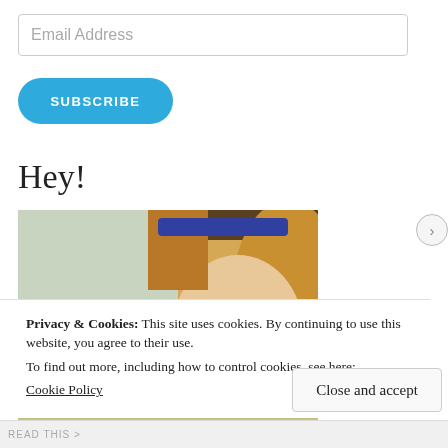Email Address
SUBSCRIBE
Hey!
[Figure (photo): Close-up photo of a young blonde woman peering over a counter or shelf, with an item labeled '1805' visible in the foreground.]
Privacy & Cookies: This site uses cookies. By continuing to use this website, you agree to their use.
To find out more, including how to control cookies, see here:
Cookie Policy
Close and accept